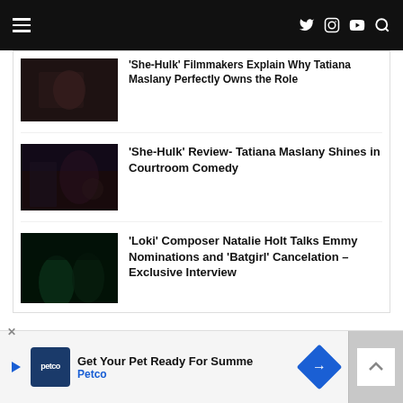Navigation bar with hamburger menu and social icons (Twitter, Instagram, YouTube, Search)
'She-Hulk' Filmmakers Explain Why Tatiana Maslany Perfectly Owns the Role
'She-Hulk' Review- Tatiana Maslany Shines in Courtroom Comedy
'Loki' Composer Natalie Holt Talks Emmy Nominations and 'Batgirl' Cancelation – Exclusive Interview
[Figure (screenshot): Advertisement banner for Petco: 'Get Your Pet Ready For Summe' with Petco logo and directional arrow icon]